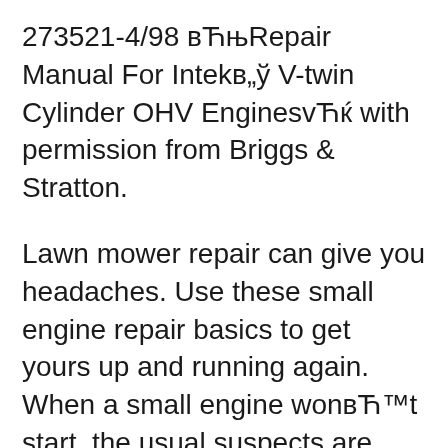273521-4/98 вЋњRepair Manual For Intekв„ў V-twin Cylinder OHV EnginesvЋк with permission from Briggs & Stratton.
Lawn mower repair can give you headaches. Use these small engine repair basics to get yours up and running again. When a small engine wonвЋ™t start, the usual suspects are bad gasoline, a corroded or plugged carburetor, or a bad ignition coil. A pro explains common repair and maintenance for motorcycles and ATVs that you can do yourself. 6 product ratings - Genuine Briggs & Stratton 271172 Repair Manual L-Head Twin. $28.65. Buy It Now +$3.99 shipping